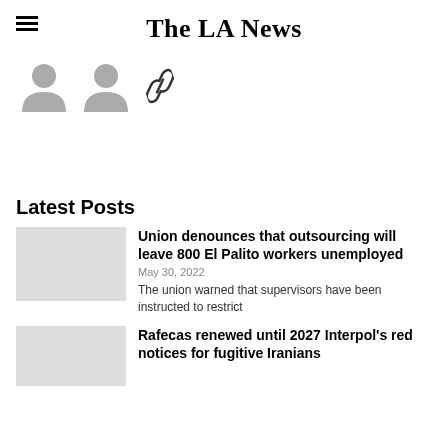The LA News
[Figure (illustration): Two grey user/person silhouette icons side by side, followed by a chain/link icon]
Latest Posts
Union denounces that outsourcing will leave 800 El Palito workers unemployed
May 30, 2022
The union warned that supervisors have been instructed to restrict
Rafecas renewed until 2027 Interpol's red notices for fugitive Iranians